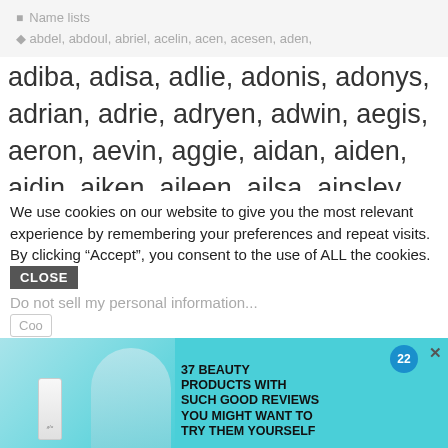Name lists
abdel, abdoul, abriel, acelin, acen, acesen, aden, adiba, adisa, adlie, adonis, adonys, adrian, adrie, adryen, adwin, aegis, aeron, aevin, aggie, aidan, aiden, aidin, aiken, aileen, ailsa, ainsley, ainslie, ainzley, airlie, airon, aisen, aisleen, aison, aizen, aizley, akeem, akina, akira, akito, akyla, alaric, alarik, alayne, albie, albin, aldair, alec, aleem, aleja, aleksei, aleksey, alen, alenka, aleta, alethea, alexy,
We use cookies on our website to give you the most relevant experience by remembering your preferences and repeat visits. By clicking “Accept”, you consent to the use of ALL the cookies.
Do not sell my personal information.
[Figure (infographic): Advertisement banner with teal/cyan background. Shows a glo brand bottle on the left alongside a woman's profile image. On the right: a blue circular badge with '22', a close X button, and bold text reading '37 BEAUTY PRODUCTS WITH SUCH GOOD REVIEWS YOU MIGHT WANT TO TRY THEM YOURSELF']